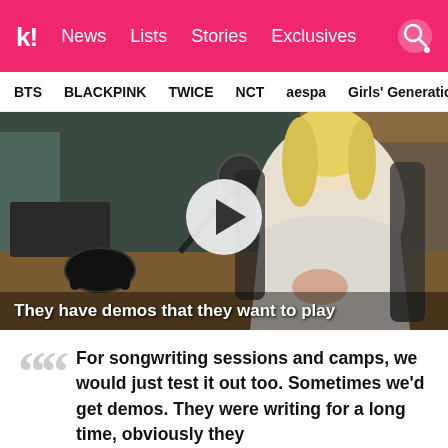k! News Lists Stories Exclusives
BTS BLACKPINK TWICE NCT aespa Girls' Generation
[Figure (screenshot): Video thumbnail showing a blonde woman in a white hoodie sitting at a radio studio desk with microphones and headphones. A large play button is overlaid in the center. Subtitle text reads: They have demos that they want to play]
They have demos that they want to play
For songwriting sessions and camps, we would just test it out too. Sometimes we'd get demos. They were writing for a long time, obviously they